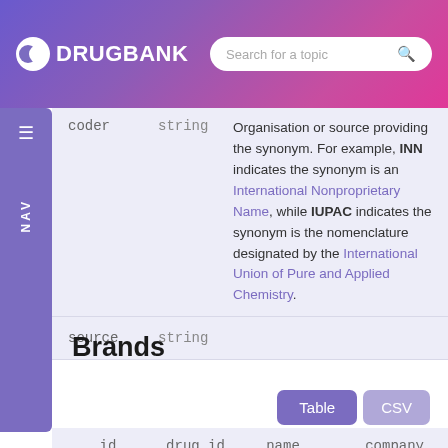DRUGBANK | Search for a topic
| field | type | description |
| --- | --- | --- |
| coder | string | Organisation or source providing the synonym. For example, INN indicates the synonym is an International Nonproprietary Name, while IUPAC indicates the synonym is the nomenclature designated by the International Union of Pure and Applied Chemistry. |
| source | string |  |
Brands
| id | drug_id | name | company |
| --- | --- | --- | --- |